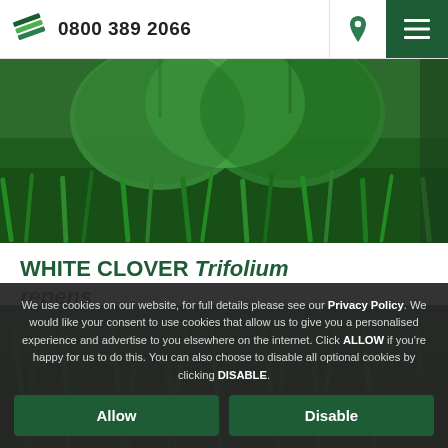0800 389 2066
[Figure (photo): Close-up photo of green clover leaves and grass]
WHITE CLOVER Trifolium repens
[Figure (photo): Close-up photo of grass background]
We use cookies on our website, for full details please see our Privacy Policy. We would like your consent to use cookies that allow us to give you a personalised experience and advertise to you elsewhere on the internet. Click ALLOW if you're happy for us to do this. You can also choose to disable all optional cookies by clicking DISABLE.
Allow
Disable